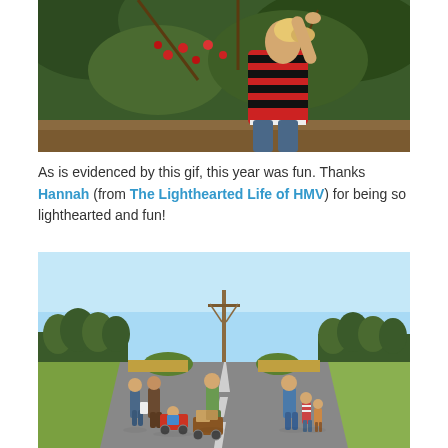[Figure (photo): A woman in a red and black striped top reaches up to pick cherries or berries from a tree in an orchard. She has blonde hair pulled back and is stretching upward toward the fruit.]
As is evidenced by this gif, this year was fun. Thanks Hannah (from The Lighthearted Life of HMV) for being so lighthearted and fun!
[Figure (photo): A group of families walking along a rural road on a sunny day. Several adults and children are walking away from the camera, some pulling wagons with children or boxes in them. A utility pole is visible in the background, surrounded by trees and fields under a blue sky.]